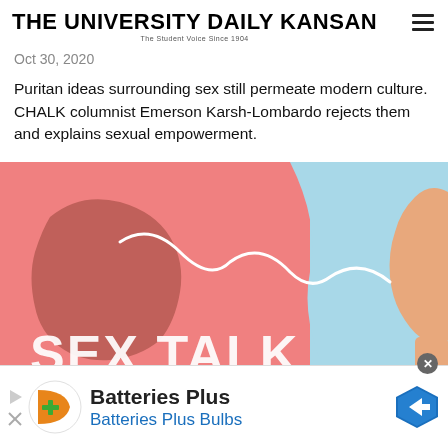THE UNIVERSITY DAILY KANSAN — The Student Voice Since 1904
Oct 30, 2020
Puritan ideas surrounding sex still permeate modern culture. CHALK columnist Emerson Karsh-Lombardo rejects them and explains sexual empowerment.
[Figure (illustration): Illustrated graphic with pink and light blue background showing silhouette profiles of two faces. White curved line overlays the pink section. Large white bold text reads 'SEX TALK' at the bottom. This is a CHALK column illustration.]
Batteries Plus
Batteries Plus Bulbs